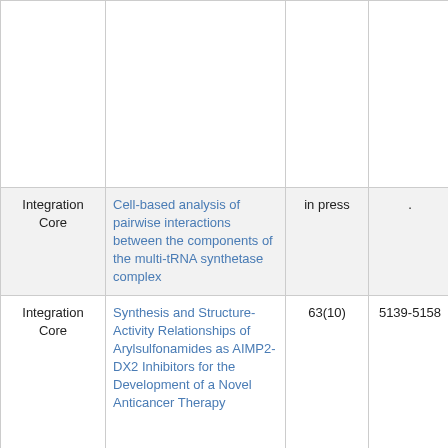| Core | Title | Volume | Pages | Authors |
| --- | --- | --- | --- | --- |
|  |  |  |  | Nam Hoon Kwon, Sunghoon Kim, Yoosik Kim, Youngil Koh |
| Integration Core | Cell-based analysis of pairwise interactions between the components of the multi-tRNA synthetase complex | in press | . | Kong JW et al. |
| Integration Core | Synthesis and Structure-Activity Relationships of Arylsulfonamides as AIMP2-DX2 Inhibitors for the Development of a Novel Anticancer Therapy | 63(10) | 5139-5158 | Aneesh Sivaraman, Dae Gyu Kim, Deepak Bhattarai, Minkyoung Kim, Hwa Young Lee, Semi Lim, Jiwon Kong, Ja-Il Goo, Seunghwan... |